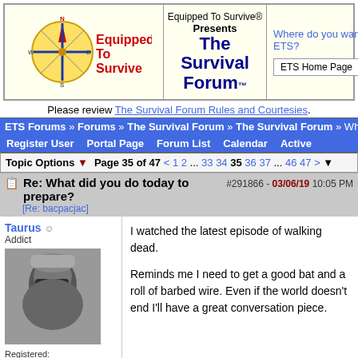[Figure (logo): Equipped To Survive website banner with compass logo, forum title, and navigation dropdown]
Please review The Survival Forum Rules and Courtesies.
ETS Forums » Forums » The Survival Forum » The Survival Forum » What di...
Register User   Portal Page   Forum List   Calendar   Active
Topic Options ▼   Page 35 of 47 < 1 2 ... 33 34 35 36 37 ... 46 47 > ▼
Re: What did you do today to prepare?   #291866 - 03/06/19 10:05 PM
[Re: bacpacjac]
Taurus ☺
Addict

Registered: 11/26/07
Posts: 458
Loc: Northern
I watched the latest episode of walking dead.

Reminds me I need to get a good bat and a roll of barbed wire. Even if the world doesn't end I'll have a great conversation piece.